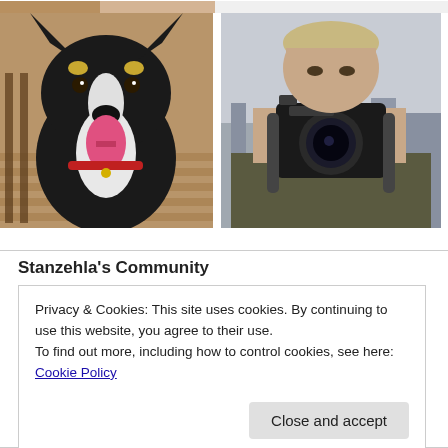[Figure (photo): Partial photo strip at top showing cropped image]
[Figure (photo): Black and white dog with tongue out, sitting on a wooden deck]
[Figure (photo): Man holding a Canon camera up to his face, with a city skyline in the background]
Stanzehla's Community
Privacy & Cookies: This site uses cookies. By continuing to use this website, you agree to their use.
To find out more, including how to control cookies, see here: Cookie Policy